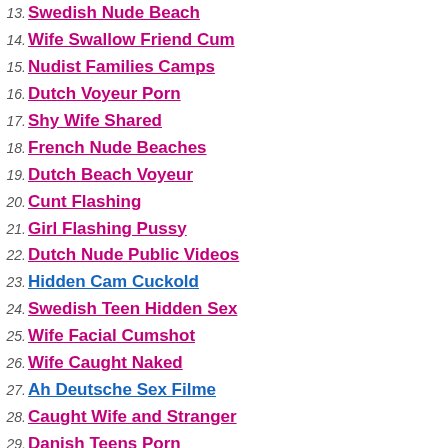13. Swedish Nude Beach
14. Wife Swallow Friend Cum
15. Nudist Families Camps
16. Dutch Voyeur Porn
17. Shy Wife Shared
18. French Nude Beaches
19. Dutch Beach Voyeur
20. Cunt Flashing
21. Girl Flashing Pussy
22. Dutch Nude Public Videos
23. Hidden Cam Cuckold
24. Swedish Teen Hidden Sex
25. Wife Facial Cumshot
26. Wife Caught Naked
27. Ah Deutsche Sex Filme
28. Caught Wife and Stranger
29. Danish Teens Porn
[Figure (screenshot): Black video player]
CL... (click bar button)
85% (103 votes)  Dur...
Views: 228 361   Category: Nudist...
Tags: Nudist Beach, Husband Film...
Nude Beach Porn - Voyeur...
Nudist Family Beach Por...
Sex Videos & Naked Pics...
Abella Porno Sites